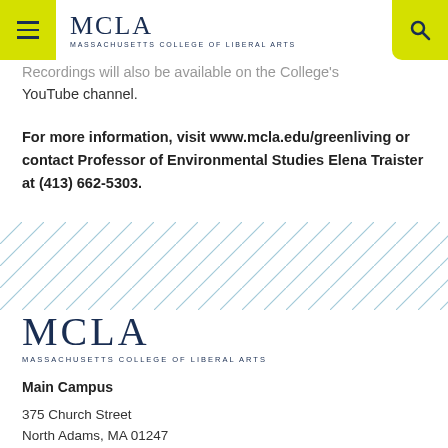MCLA MASSACHUSETTS COLLEGE OF LIBERAL ARTS
Recordings will also be available on the College's YouTube channel.
For more information, visit www.mcla.edu/greenliving or contact Professor of Environmental Studies Elena Traister at (413) 662-5303.
[Figure (illustration): Diagonal stripe decorative pattern in light blue/teal color]
[Figure (logo): MCLA Massachusetts College of Liberal Arts logo]
Main Campus
375 Church Street
North Adams, MA 01247